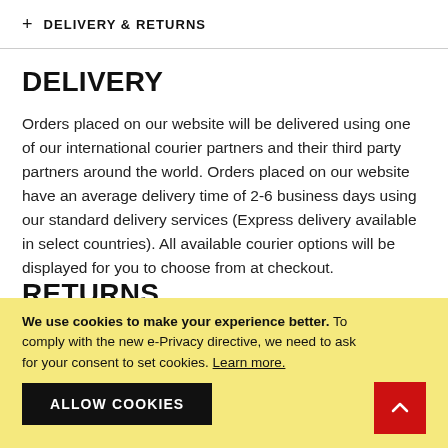+ DELIVERY & RETURNS
DELIVERY
Orders placed on our website will be delivered using one of our international courier partners and their third party partners around the world. Orders placed on our website have an average delivery time of 2-6 business days using our standard delivery services (Express delivery available in select countries). All available courier options will be displayed for you to choose from at checkout.
RETURNS
We use cookies to make your experience better. To comply with the new e-Privacy directive, we need to ask for your consent to set cookies. Learn more.
ALLOW COOKIES